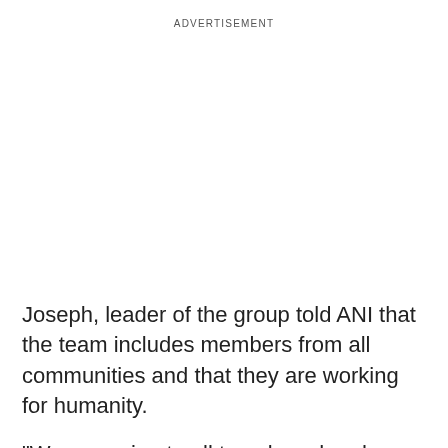ADVERTISEMENT
Joseph, leader of the group told ANI that the team includes members from all communities and that they are working for humanity.
"We are going to all temples, churches and mosques around to clean them. We all have come together for